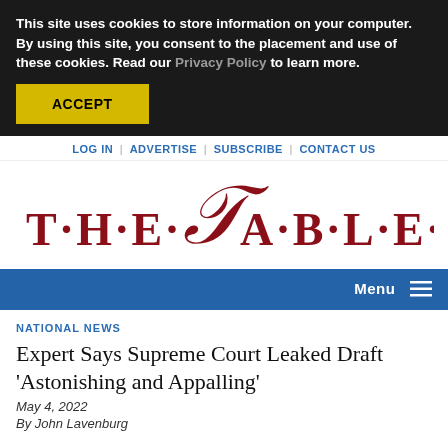This site uses cookies to store information on your computer. By using this site, you consent to the placement and use of these cookies. Read our Privacy Policy to learn more.
ACCEPT
LOG IN | ADVERTISE | SUBSCRIBE | CONTACT US
[Figure (logo): The Tablet newspaper logo in dark red serif lettering with decorative script T]
Menu
NATIONAL NEWS
Expert Says Supreme Court Leaked Draft 'Astonishing and Appalling'
May 4, 2022
By John Lavenburg